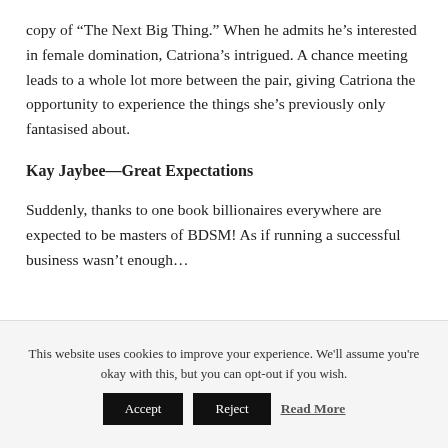copy of “The Next Big Thing.” When he admits he’s interested in female domination, Catriona’s intrigued. A chance meeting leads to a whole lot more between the pair, giving Catriona the opportunity to experience the things she’s previously only fantasised about.
Kay Jaybee—Great Expectations
Suddenly, thanks to one book billionaires everywhere are expected to be masters of BDSM! As if running a successful business wasn’t enough…
This website uses cookies to improve your experience. We'll assume you're okay with this, but you can opt-out if you wish.